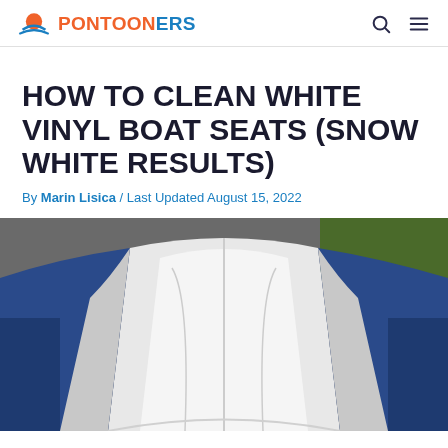PONTOONERS
HOW TO CLEAN WHITE VINYL BOAT SEATS (SNOW WHITE RESULTS)
By Marin Lisica / Last Updated August 15, 2022
[Figure (photo): White and blue vinyl pontoon boat seats viewed from above, showing clean white upholstery with blue side panels, outdoors on pavement with grass visible in background]